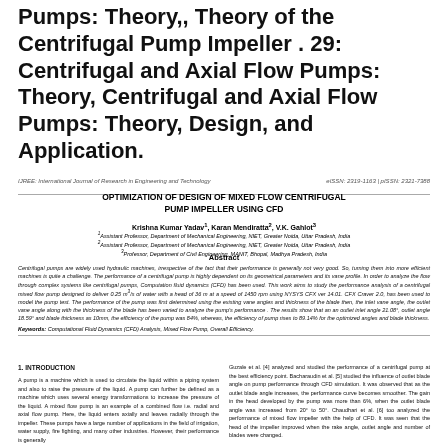Pumps: Theory,, Theory of the Centrifugal Pump Impeller . 29: Centrifugal and Axial Flow Pumps: Theory, Centrifugal and Axial Flow Pumps: Theory, Design, and Application.
IJREE: International Journal of Research in Engineering and Technology    eISSN: 2319-1163 | pISSN: 2321-7388
OPTIMIZATION OF DESIGN OF MIXED FLOW CENTRIFUGAL PUMP IMPELLER USING CFD
Krishna Kumar Yadav1, Karan Mendiratta2, V.K. Gahlot3
1Assistant Professor, Department of Mechanical Engineering, NIET, Greater Noida, Uttar Pradesh, India
2Assistant Professor, Department of Mechanical Engineering, NIET, Greater Noida, Uttar Pradesh, India
3Professor, Department of Civil Engineering, MANIT, Bhopal, Madhya Pradesh, India
Abstract
Centrifugal pumps are widely used hydraulic machines, irrespective of the fact that their performance is generally not very good. So, turning them into more efficient machines is quite a challenge. The performance of a centrifugal pump is highly dependent on its geometrical parameters and its vane profile. In order to analyze the flow through complex systems like centrifugal pumps, Computation fluid dynamics (CFD) has been used. This work aims to study the performance analysis of a centrifugal mixed flow pump designed to deliver 0.25 m3/s of water with a head of 36 m at a speed of 1450 rpm using NYSYS CFX ver 14.01. CFX Craver 2.0, has been used to model the pump test. The performance of the pump was first determined using the existing vane angles and thickness of the blade then, the inlet vane angle, the outlet vane angle along with the thickness of the blade has been varied to analyze the pump's performance. The results show that an an outlet inlet angle 21.08°, outlet angle 18.59° and blade thickness as 10mm, the efficiency of the pump was 84%, whereas, the efficiency of pump rises to 89.14% for the optimized angles and blade thickness.
Keywords: Computational Fluid Dynamics (CFD) Analysis, Mixed Flow Pump, Overall Efficiency.
1. INTRODUCTION
A pump is a machine which is used to circulate the liquid within a piping system and also to raise the pressure of the liquid. A pump can further be defined as a machine which uses several energy transformations to increase the pressure of the liquid. A mixed flow pump is an example of a combined flow i.e. radial and axial flow pump. Here, the liquid enters axially and leaves radially through the impeller. These pumps have a large number of applications in the field of irrigation, water supply, fire fighting, and many other industries. However, their performance is generally
Guzale et al. [4] analyzed and studied the performance of a centrifugal pump at the best efficiency point. Bacharaudin et al. [5] studied the influence of outlet blade angle on pump performance through CFD simulation. It was observed that as the outlet blade angle increases, the performance curve becomes smoother. The gain in the head developed by the pump was more than 6%, when the outlet blade angle was increased from 20° to 50°. Chaudhari et al. [6] too analyzed the performance of mixed flow impeller with the help of CFD. It was seen that the head of the impeller improved when the rake angle, outlet angle and number of blades were changed.